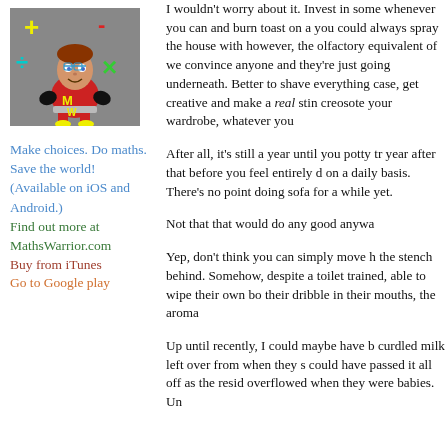[Figure (illustration): Cartoon illustration of Maths Warrior character — a boy in a red superhero outfit with 'MW' on chest, surrounded by colorful math symbols (+, -, ×, ÷) on a gray background]
Make choices. Do maths. Save the world!
(Available on iOS and Android.)
Find out more at MathsWarrior.com
Buy from iTunes
Go to Google play
I wouldn't worry about it. Invest in some whenever you can and burn toast on a you could always spray the house with however, the olfactory equivalent of we convince anyone and they're just going underneath. Better to shave everything case, get creative and make a real stin creosote your wardrobe, whatever you
After all, it's still a year until you potty tr year after that before you feel entirely d on a daily basis. There's no point doing sofa for a while yet.
Not that that would do any good anywa
Yep, don't think you can simply move h the stench behind. Somehow, despite a toilet trained, able to wipe their own bo their dribble in their mouths, the aroma
Up until recently, I could maybe have b curdled milk left over from when they s could have passed it all off as the resid overflowed when they were babies. Un